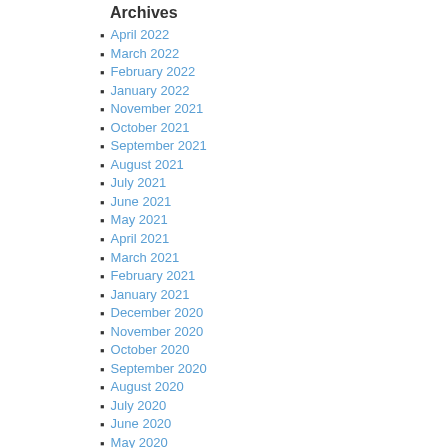Archives
April 2022
March 2022
February 2022
January 2022
November 2021
October 2021
September 2021
August 2021
July 2021
June 2021
May 2021
April 2021
March 2021
February 2021
January 2021
December 2020
November 2020
October 2020
September 2020
August 2020
July 2020
June 2020
May 2020
April 2020
March 2020
January 2020
December 2019
November 2019
October 2019
September 2019
August 2019
July 2019
June 2019
May 2019
April 2019
March 2019
February 2019
January 2019
December 2018
November 2018